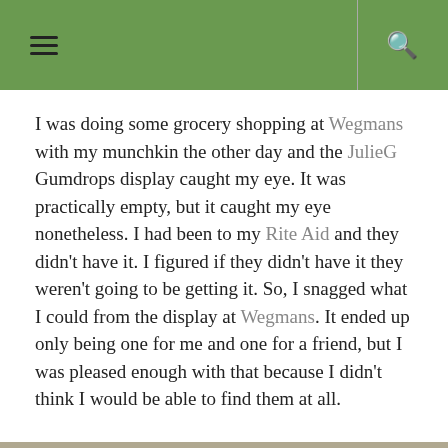I was doing some grocery shopping at Wegmans with my munchkin the other day and the JulieG Gumdrops display caught my eye. It was practically empty, but it caught my eye nonetheless. I had been to my Rite Aid and they didn't have it. I figured if they didn't have it they weren't going to be getting it. So, I snagged what I could from the display at Wegmans. It ended up only being one for me and one for a friend, but I was pleased enough with that because I didn't think I would be able to find them at all.